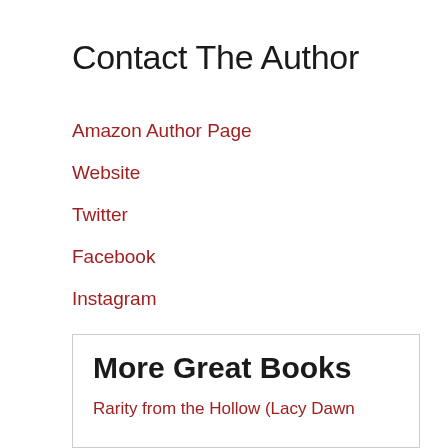Contact The Author
Amazon Author Page
Website
Twitter
Facebook
Instagram
More Great Books
Rarity from the Hollow (Lacy Dawn Adventures)